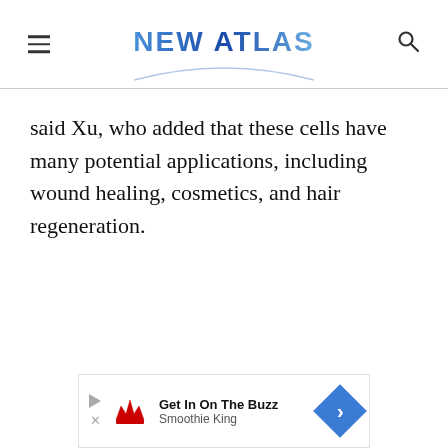NEW ATLAS
said Xu, who added that these cells have many potential applications, including wound healing, cosmetics, and hair regeneration.
[Figure (other): Advertisement banner for Smoothie King with text 'Get In On The Buzz' and 'Smoothie King']